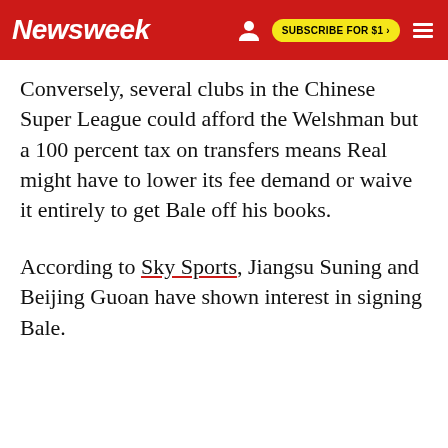Newsweek | SUBSCRIBE FOR $1 >
Conversely, several clubs in the Chinese Super League could afford the Welshman but a 100 percent tax on transfers means Real might have to lower its fee demand or waive it entirely to get Bale off his books.
According to Sky Sports, Jiangsu Suning and Beijing Guoan have shown interest in signing Bale.